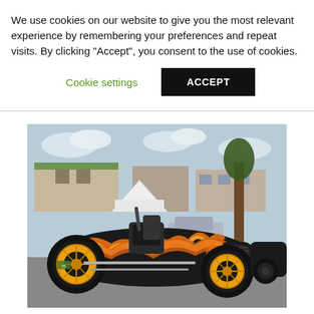We use cookies on our website to give you the most relevant experience by remembering your preferences and repeat visits. By clicking “Accept”, you consent to the use of cookies.
Cookie settings
ACCEPT
[Figure (photo): A black hot rod / custom roadster with bright orange and yellow flame graphics on the body, large yellow spoke wheels, open cockpit with a seat visible, photographed at an outdoor car show with other vehicles, trees, and commercial buildings in the background.]